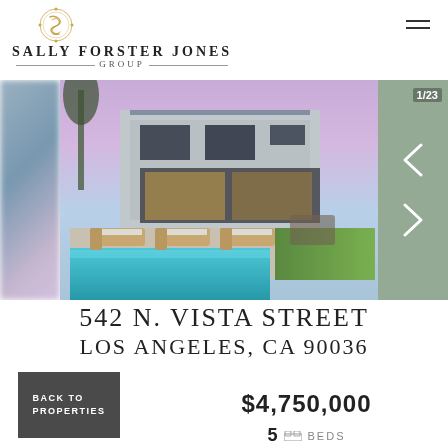[Figure (logo): Sally Forster Jones Group logo with ornate gold emblem above the brand name]
[Figure (photo): Luxury modern home at dusk with a swimming pool, lounge chairs, and an image carousel showing 1/23]
542 N. VISTA STREET LOS ANGELES, CA 90036
BACK TO PROPERTIES
$4,750,000
5 BEDS